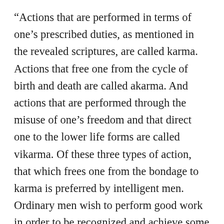“Actions that are performed in terms of one’s prescribed duties, as mentioned in the revealed scriptures, are called karma. Actions that free one from the cycle of birth and death are called akarma. And actions that are performed through the misuse of one’s freedom and that direct one to the lower life forms are called vikarma. Of these three types of action, that which frees one from the bondage to karma is preferred by intelligent men. Ordinary men wish to perform good work in order to be recognized and achieve some higher status of life in this world or in heaven, but more advanced men want to be free altogether from the actions and reactions of work. Intelligent men well know that both good and bad work